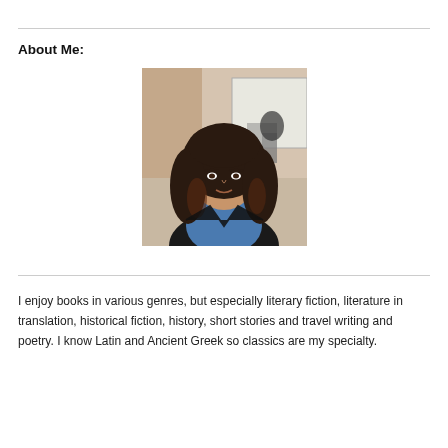About Me:
[Figure (photo): Portrait photo of a young woman with long dark wavy hair, wearing a black jacket over a blue top, seated in what appears to be a classroom setting.]
I enjoy books in various genres, but especially literary fiction, literature in translation, historical fiction, history, short stories and travel writing and poetry. I know Latin and Ancient Greek so classics are my specialty.